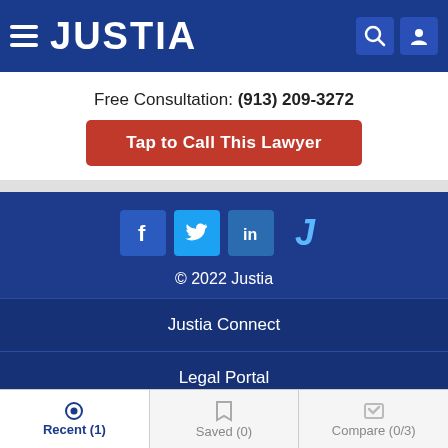[Figure (logo): Justia website header with hamburger menu, JUSTIA logo in white on dark blue background, and search/user icons on the right]
Free Consultation: (913) 209-3272
Tap to Call This Lawyer
[Figure (screenshot): Social media icons: Facebook, Twitter, LinkedIn, and Justia J logo]
© 2022 Justia
Justia Connect
Legal Portal
Company
Recent (1)   Saved (0)   Compare (0/3)